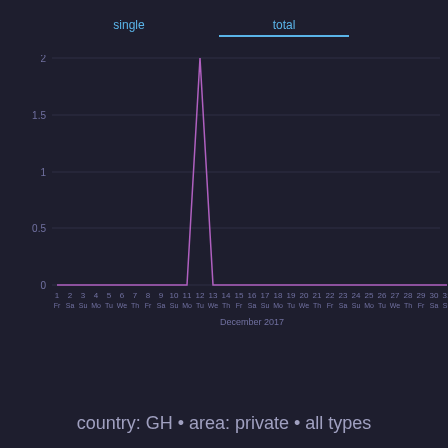[Figure (line-chart): ]
country: GH • area: private • all types